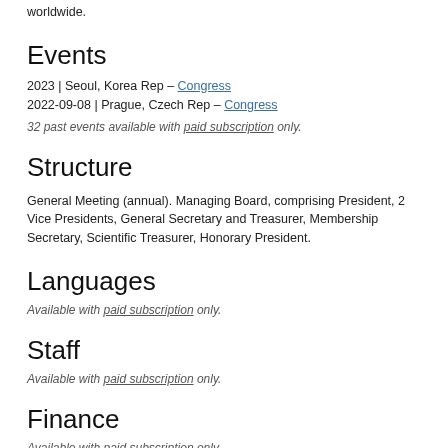worldwide.
Events
2023 | Seoul, Korea Rep – Congress
2022-09-08 | Prague, Czech Rep – Congress
32 past events available with paid subscription only.
Structure
General Meeting (annual). Managing Board, comprising President, 2 Vice Presidents, General Secretary and Treasurer, Membership Secretary, Scientific Treasurer, Honorary President.
Languages
Available with paid subscription only.
Staff
Available with paid subscription only.
Finance
Available with paid subscription only.